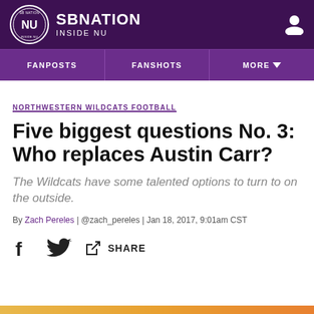SBNation INSIDE NU
NORTHWESTERN WILDCATS FOOTBALL
Five biggest questions No. 3: Who replaces Austin Carr?
The Wildcats have some talented options to turn to on the outside.
By Zach Pereles | @zach_pereles | Jan 18, 2017, 9:01am CST